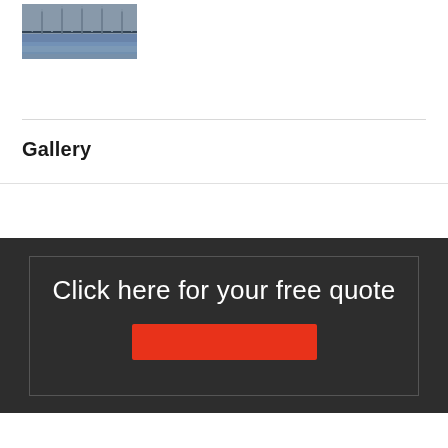[Figure (photo): Aerial photo of a bridge over water, showing steel truss structure in muted blue-grey tones]
Gallery
Click here for your free quote